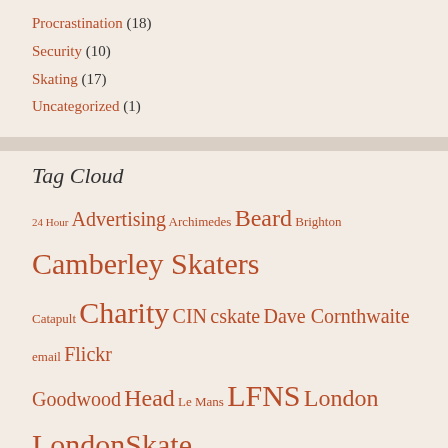Procrastination (18)
Security (10)
Skating (17)
Uncategorized (1)
Tag Cloud
24 Hour Advertising Archimedes Beard Brighton Camberley Skaters Catapult Charity CIN cskate Dave Cornthwaite email Flickr Goodwood Head Le Mans LFNS London LondonSkate London to Brighton Majordomo Marathon Photosynth poem programming Pudsey Roller SantaSkate Script Security Skate skates Skating spam Street Skate Trebuchet Unreal Tournament UT2003 UT2004 Video Virgin voucher codes vouchers win YouTube